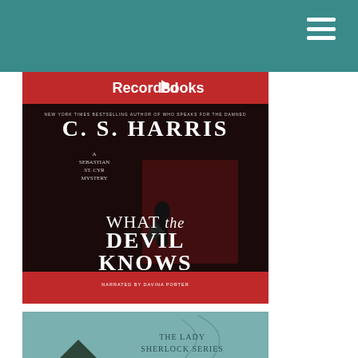Navigation header with hamburger menu
[Figure (illustration): Audiobook cover for 'What the Devil Knows' by C.S. Harris, published by Recorded Books. Features a dark red and black dramatic image of a caped figure on stairs. Text reads: NEW YORK TIMES BESTSELLING AUTHOR OF WHO SPEAKS FOR THE DAMNED, C. S. HARRIS, A Sebastian St. Cyr Mystery, What the Devil Knows, NARRATED BY DAVINA PORTER]
[Figure (illustration): Partial audiobook cover for 'Miss' from The Lady Sherlock Series, showing a teal/blue-grey background with a house and decorative swirls. Text visible: THE LADY SHERLOCK SERIES, Miss]